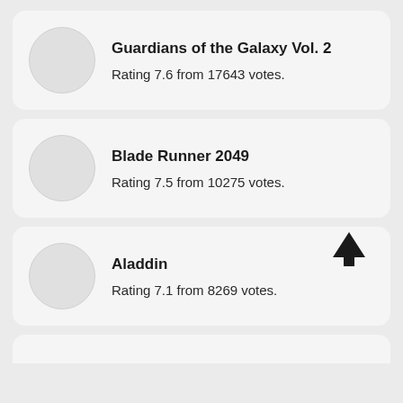Guardians of the Galaxy Vol. 2 — Rating 7.6 from 17643 votes.
Blade Runner 2049 — Rating 7.5 from 10275 votes.
Aladdin — Rating 7.1 from 8269 votes.